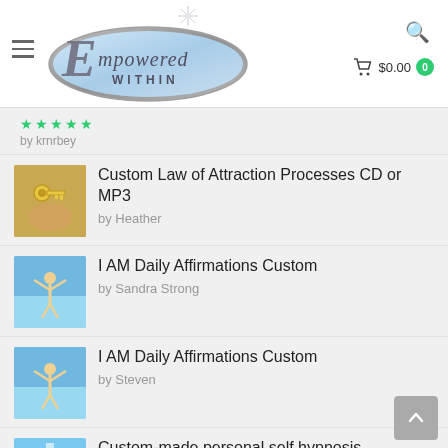[Figure (logo): Empowered Within logo - oval silver/blue ellipse with script E and 'mpowered WITHIN' text, star burst above]
Empowered Within — $0.00 cart
★★★★★ by krnrbey
Custom Law of Attraction Processes CD or MP3 by Heather
I AM Daily Affirmations Custom by Sandra Strong
I AM Daily Affirmations Custom by Steven
Custom-made personal self hypnosis recordings